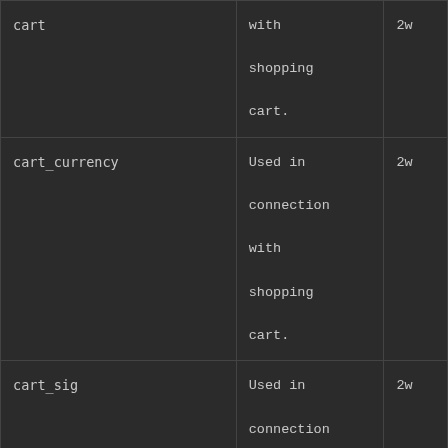| Name | Description | Expiry |
| --- | --- | --- |
| cart | Used in connection with shopping cart. | 2w |
| cart_currency | Used in connection with shopping cart. | 2w |
| cart_sig | Used in connection with checkout. | 2w |
| cart_ts | Used in connection | 2w |